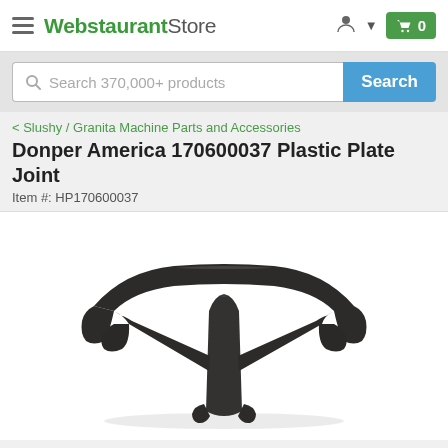WebstaurantStore
Search 370,000+ products
< Slushy / Granita Machine Parts and Accessories
Donper America 170600037 Plastic Plate Joint
Item #: HP170600037
[Figure (photo): Donper America 170600037 Plastic Plate Joint - dark brown/black plastic T-shaped plate joint component photographed on white background]